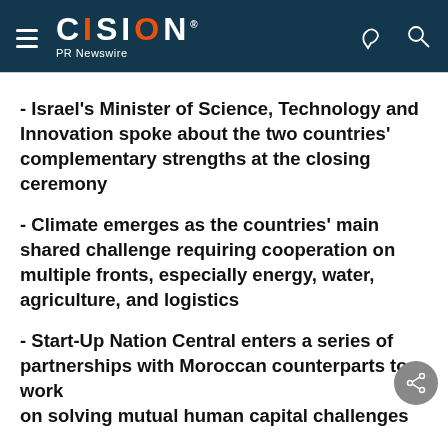CISION PR Newswire
- Israel's Minister of Science, Technology and Innovation spoke about the two countries' complementary strengths at the closing ceremony
- Climate emerges as the countries' main shared challenge requiring cooperation on multiple fronts, especially energy, water, agriculture, and logistics
- Start-Up Nation Central enters a series of partnerships with Moroccan counterparts to work on solving mutual human capital challenges